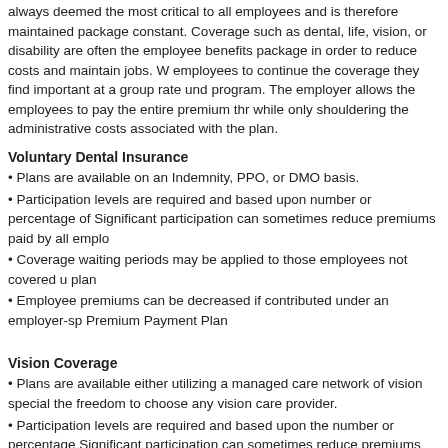always deemed the most critical to all employees and is therefore maintained package constant. Coverage such as dental, life, vision, or disability are often the employee benefits package in order to reduce costs and maintain jobs. W employees to continue the coverage they find important at a group rate und program. The employer allows the employees to pay the entire premium thr while only shouldering the administrative costs associated with the plan.
Voluntary Dental Insurance
Plans are available on an Indemnity, PPO, or DMO basis.
Participation levels are required and based upon number or percentage of Significant participation can sometimes reduce premiums paid by all emplo
Coverage waiting periods may be applied to those employees not covered u plan
Employee premiums can be decreased if contributed under an employer-sp Premium Payment Plan
Vision Coverage
Plans are available either utilizing a managed care network of vision special the freedom to choose any vision care provider.
Participation levels are required and based upon the number or percentage Significant participation can sometimes reduce premiums paid by all emplo
The use of a managed care network would grant employees access to disco benefits provided for exams and materials (lenses, frames).
Employee premiums can be decreased if contributed under an employer-sp Premium Payment Plan